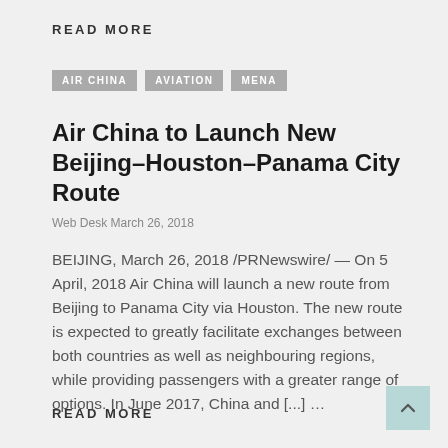READ MORE
AIR CHINA
AVIATION
MENA
Air China to Launch New Beijing–Houston–Panama City Route
Web Desk March 26, 2018
BEIJING, March 26, 2018 /PRNewswire/ — On 5 April, 2018 Air China will launch a new route from Beijing to Panama City via Houston. The new route is expected to greatly facilitate exchanges between both countries as well as neighbouring regions, while providing passengers with a greater range of options. In June 2017, China and [...] …
READ MORE